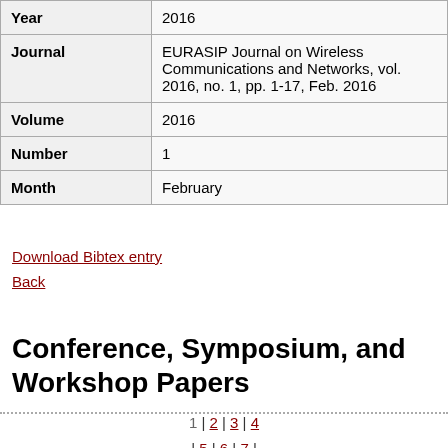| Field | Value |
| --- | --- |
| Year | 2016 |
| Journal | EURASIP Journal on Wireless Communications and Networks, vol. 2016, no. 1, pp. 1-17, Feb. 2016 |
| Volume | 2016 |
| Number | 1 |
| Month | February |
Download Bibtex entry
Back
Conference, Symposium, and Workshop Papers
1 | 2 | 3 | 4 | 5 | 6 | 7 | 8 | 9 | 10 | 11 | 12 |